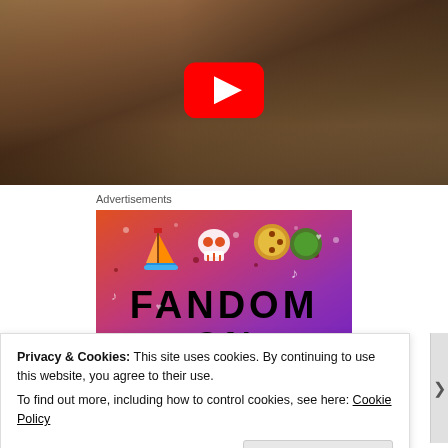[Figure (screenshot): YouTube video thumbnail showing a sepia-toned photo of people drinking, with a red YouTube play button overlay in the center]
Advertisements
[Figure (illustration): Fandom advertisement banner with colorful gradient background (orange to purple), featuring cartoon icons including a sailboat, skull, dice, and the text FANDOM]
Privacy & Cookies: This site uses cookies. By continuing to use this website, you agree to their use.
To find out more, including how to control cookies, see here: Cookie Policy
Close and accept